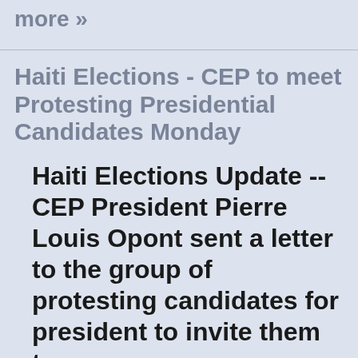more »
Haiti Elections - CEP to meet Protesting Presidential Candidates Monday
Haiti Elections Update -- CEP President Pierre Louis Opont sent a letter to the group of protesting candidates for president to invite them to a...